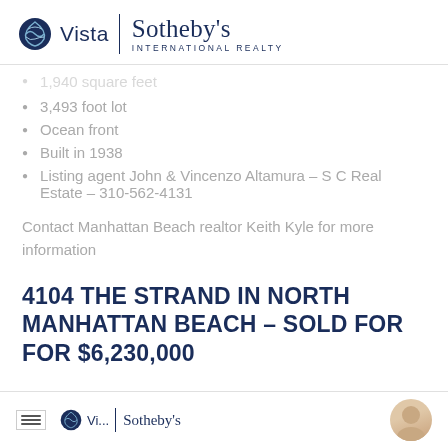Vista | Sotheby's International Realty
1,540 square feet
3,493 foot lot
Ocean front
Built in 1938
Listing agent John & Vincenzo Altamura – S C Real Estate – 310-562-4131
Contact Manhattan Beach realtor Keith Kyle for more information
4104 THE STRAND IN NORTH MANHATTAN BEACH – SOLD FOR FOR $6,230,000
Vista | Sotheby's